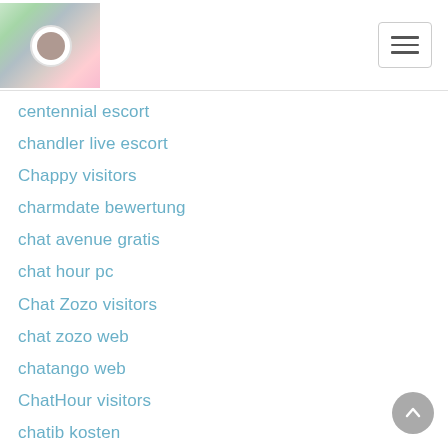[Figure (logo): Website header with logo image and hamburger menu button]
centennial escort
chandler live escort
Chappy visitors
charmdate bewertung
chat avenue gratis
chat hour pc
Chat Zozo visitors
chat zozo web
chatango web
ChatHour visitors
chatib kosten